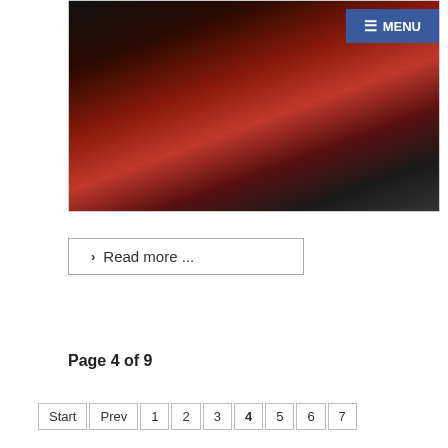[Figure (photo): A group of people in red and black clothing. Two people in the foreground face the camera; one wears a white headband and orange/red scarf, the other wears a red shirt under a black jacket. A blue menu button appears in the top right corner.]
≡ MENU
❯ Read more ...
Page 4 of 9
Start  Prev  1  2  3  4  5  6  7